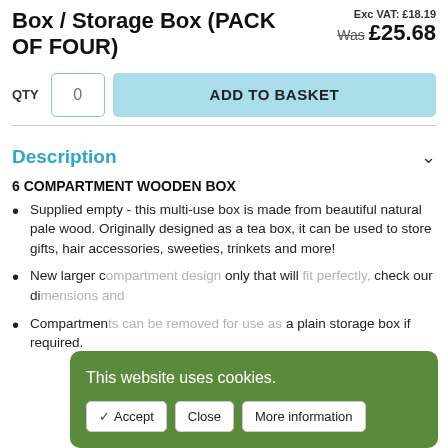6 Compartments Plain Wooden Tea Box / Storage Box (PACK OF FOUR)
Exc VAT: £18.19 Was £25.68
QTY  0  ADD TO BASKET
Description
6 COMPARTMENT WOODEN BOX
Supplied empty - this multi-use box is made from beautiful natural pale wood. Originally designed as a tea box, it can be used to store gifts, hair accessories, sweeties, trinkets and more!
New larger c... only that will... check our di...
Compartmen... a plain storage box if required.
This website uses cookies.
✓ Accept  Close  More information